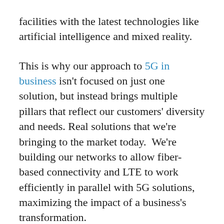facilities with the latest technologies like artificial intelligence and mixed reality.
This is why our approach to 5G in business isn't focused on just one solution, but instead brings multiple pillars that reflect our customers' diversity and needs. Real solutions that we're bringing to the market today.  We're building our networks to allow fiber-based connectivity and LTE to work efficiently in parallel with 5G solutions, maximizing the impact of a business's transformation.
Our standards-based approach comes to life via 3 main service pillars: